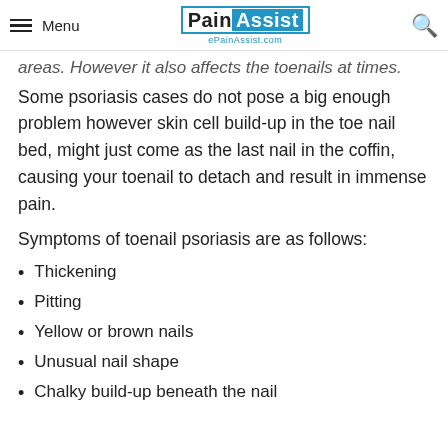Menu | PainAssist ePainAssist.com
areas. However it also affects the toenails at times. Some psoriasis cases do not pose a big enough problem however skin cell build-up in the toe nail bed, might just come as the last nail in the coffin, causing your toenail to detach and result in immense pain.
Symptoms of toenail psoriasis are as follows:
Thickening
Pitting
Yellow or brown nails
Unusual nail shape
Chalky build-up beneath the nail